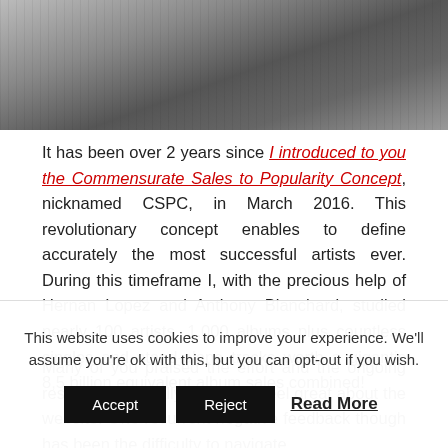[Figure (photo): Black and white photo of a person lying on a floor, wearing a watch and suit.]
It has been over 2 years since I introduced to you the Commensurate Sales to Popularity Concept, nicknamed CSPC, in March 2016. This revolutionary concept enables to define accurately the most successful artists ever. During this timeframe I, with the precious help of Hernan Lopez and Anthony Blanchard, studied nearly 100 artists, 1,000 albums plus countless singles and stand-alone tracks worth a gigantic 8,5 billion equivalent album sales combined!
Many of you praised the effort and the ongoing results which really makes us feel great about the website. One recurrent negative feedback though has been the difficulty to navigate
This website uses cookies to improve your experience. We'll assume you're ok with this, but you can opt-out if you wish.
Accept  Reject  Read More